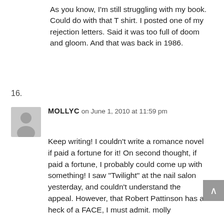As you know, I'm still struggling with my book. Could do with that T shirt. I posted one of my rejection letters. Said it was too full of doom and gloom. And that was back in 1986.
16.
MOLLYC on June 1, 2010 at 11:59 pm
Keep writing! I couldn't write a romance novel if paid a fortune for it! On second thought, if paid a fortune, I probably could come up with something! I saw “Twilight” at the nail salon yesterday, and couldn't understand the appeal. However, that Robert Pattinson has a heck of a FACE, I must admit. molly